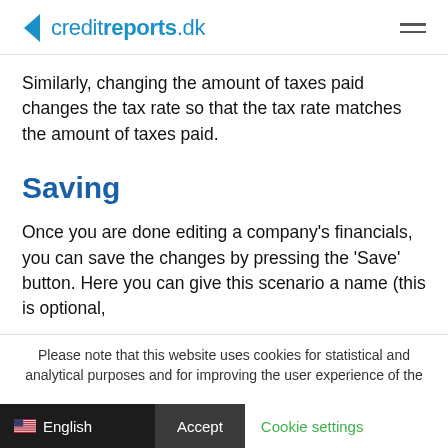creditreports.dk
Similarly, changing the amount of taxes paid changes the tax rate so that the tax rate matches the amount of taxes paid.
Saving
Once you are done editing a company's financials, you can save the changes by pressing the 'Save' button. Here you can give this scenario a name (this is optional,
Please note that this website uses cookies for statistical and analytical purposes and for improving the user experience of the
English   Accept   Cookie settings